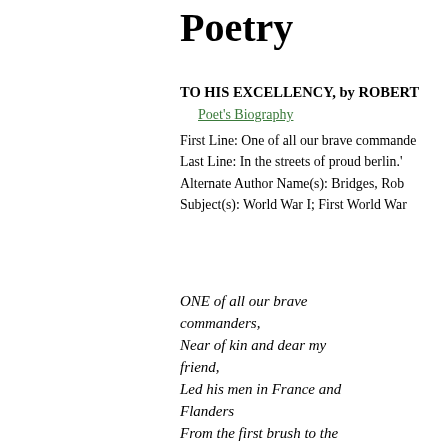Poetry
TO HIS EXCELLENCY, by ROBERT
Poet's Biography
First Line: One of all our brave commande
Last Line: In the streets of proud berlin.'
Alternate Author Name(s): Bridges, Rob
Subject(s): World War I; First World War
ONE of all our brave commanders,
Near of kin and dear my friend,
Led his men in France and Flanders
From the first brush to the end:

Peril lov'd he, and undaunted
Sought it out, and thanked his stars
That to him a place was
Other Poe
CAPTIV
HEMING
D'ANNU
HEMING
1915: TH
CONRA
TO OUR
KATHAI